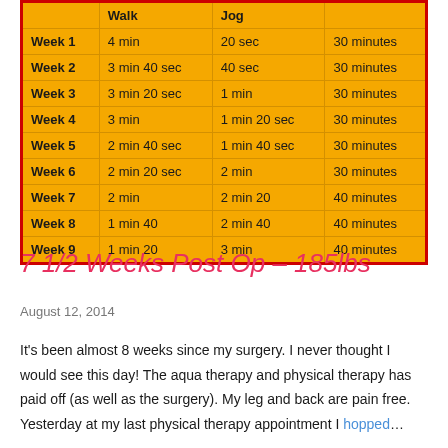|  | Walk | Jog |  |
| --- | --- | --- | --- |
| Week 1 | 4 min | 20 sec | 30 minutes |
| Week 2 | 3 min 40 sec | 40 sec | 30 minutes |
| Week 3 | 3 min 20 sec | 1 min | 30 minutes |
| Week 4 | 3 min | 1 min 20 sec | 30 minutes |
| Week 5 | 2 min 40 sec | 1 min 40 sec | 30 minutes |
| Week 6 | 2 min 20 sec | 2 min | 30 minutes |
| Week 7 | 2 min | 2 min 20 | 40 minutes |
| Week 8 | 1 min 40 | 2 min 40 | 40 minutes |
| Week 9 | 1 min 20 | 3 min | 40 minutes |
7 1/2 Weeks Post Op – 185lbs
August 12, 2014
It's been almost 8 weeks since my surgery. I never thought I would see this day! The aqua therapy and physical therapy has paid off (as well as the surgery). My leg and back are pain free. Yesterday at my last physical therapy appointment I hopped...